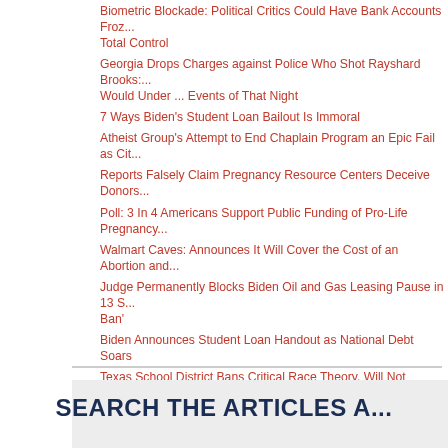Biometric Blockade: Political Critics Could Have Bank Accounts Froz... Total Control
Georgia Drops Charges against Police Who Shot Rayshard Brooks: Would Under ... Events of That Night
7 Ways Biden's Student Loan Bailout Is Immoral
Atheist Group's Attempt to End Chaplain Program an Epic Fail as Cit...
Reports Falsely Claim Pregnancy Resource Centers Deceive Donors...
Poll: 3 In 4 Americans Support Public Funding of Pro-Life Pregnancy...
Walmart Caves: Announces It Will Cover the Cost of an Abortion and...
Judge Permanently Blocks Biden Oil and Gas Leasing Pause in 13 S... Ban'
Biden Announces Student Loan Handout as National Debt Soars
Texas School District Bans Critical Race Theory, Will Not Promote 'P...
'God Has Spoken': Church-Run School Stands Firm amid Death Thr...
Florida Flips Multiple School Boards from Liberal to Conservative as... Schools
'Modern-Day Miracles Can Still Happen': Father of Little Leaguer Wh... Is Still Alive
America's Elections Are at Stake. Texas Shows They Can Be Fixed
Federal Agents Raid an Independent Amish Organic Farm; Tucker C...
SEARCH THE ARTICLES A...